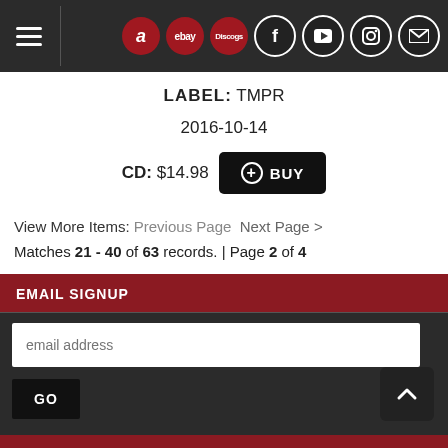Navigation bar with hamburger menu and icons: Amazon, eBay, Discogs, Facebook, YouTube, Instagram, Mail
LABEL: TMPR
2016-10-14
CD: $14.98  + BUY
View More Items: Previous Page   Next Page >
Matches 21 - 40 of 63 records. | Page 2 of 4
EMAIL SIGNUP
email address
GO
MORE STUFF